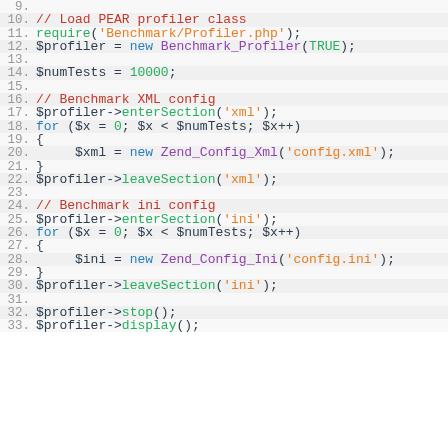Code snippet showing PHP profiling benchmark (lines 9-33)